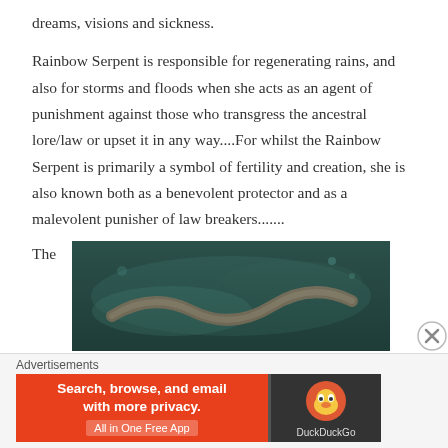dreams, visions and sickness.
Rainbow Serpent is responsible for regenerating rains, and also for storms and floods when she acts as an agent of punishment against those who transgress the ancestral lore/law or upset it in any way....For whilst the Rainbow Serpent is primarily a symbol of fertility and creation, she is also known both as a benevolent protector and as a malevolent punisher of law breakers.......
The
[Figure (photo): Underwater scene showing what appears to be a snake or serpent in dark greenish water]
Advertisements
[Figure (screenshot): DuckDuckGo advertisement banner: 'Search, browse, and email with more privacy. All in One Free App' with DuckDuckGo logo on dark background]